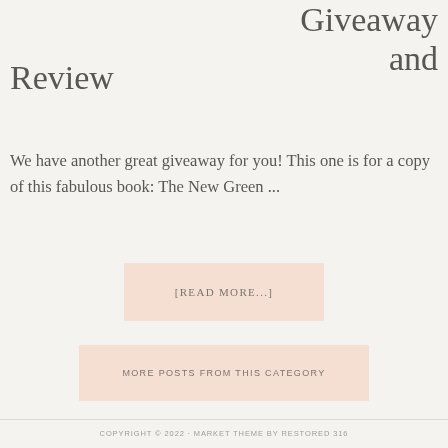Giveaway and Review
We have another great giveaway for you! This one is for a copy of this fabulous book: The New Green ...
[READ MORE...]
MORE POSTS FROM THIS CATEGORY
COPYRIGHT © 2022 · MARKET THEME BY RESTORED 316